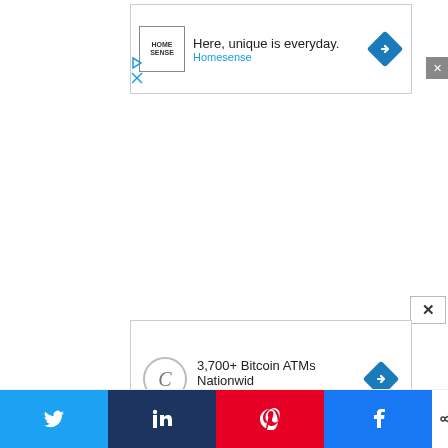[Figure (screenshot): Homesense advertisement banner: logo with HOME SENSE text, headline 'Here, unique is everyday.', brand name 'Homesense', and a blue directional arrow diamond icon.]
[Figure (screenshot): CoinFlip Bitcoin ATM advertisement banner: circular C logo, headline '3,700+ Bitcoin ATMs Nationwid', brand name 'CoinFlip Bitcoin ATM', and a blue directional arrow diamond icon.]
[Figure (screenshot): Social sharing bar with Twitter (blue), LinkedIn (dark blue), Pinterest (red), Facebook (blue) buttons, and a share count showing '0 SHARES'.]